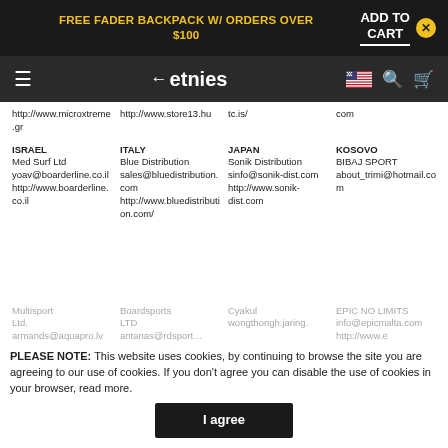FREE FADER BACKPACK W/ ORDERS OVER $100 | ADD TO CART ×
etnies navigation bar
http://www.microxtreme.gr  http://www.store13.hu  tc.is/  com
ISRAEL
Med Surf Ltd
yoav@boarderline.co.il
http://www.boarderline.co.il
ITALY
Blue Distribution
sales@bluedistribution.com
http://www.bluedistribution.com/
JAPAN
Sonik Distribution
sinfo@sonik-dist.com
http://www.sonik-dist.com
KOSOVO
BIBAJ SPORT
about_trimi@hotmail.com
PLEASE NOTE: This website uses cookies, by continuing to browse the site you are agreeing to our use of cookies. If you don't agree you can disable the use of cookies in your browser, read more.
I agree